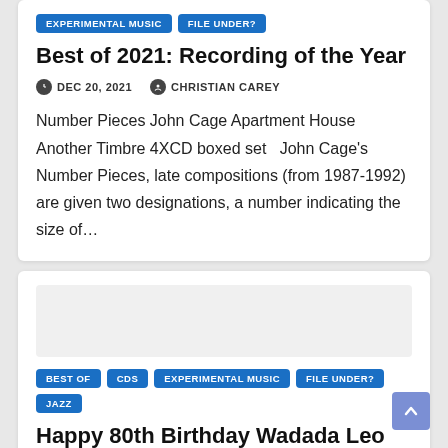EXPERIMENTAL MUSIC
FILE UNDER?
Best of 2021: Recording of the Year
DEC 20, 2021  CHRISTIAN CAREY
Number Pieces John Cage Apartment House Another Timbre 4XCD boxed set   John Cage's Number Pieces, late compositions (from 1987-1992) are given two designations, a number indicating the size of...
BEST OF
CDS
EXPERIMENTAL MUSIC
FILE UNDER?
JAZZ
Happy 80th Birthday Wadada Leo Smith!